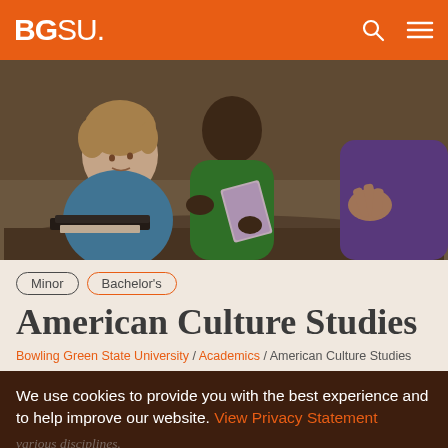BGSU
[Figure (photo): Three people sitting at a table in discussion — a woman with curly hair in a blue cardigan, a man in a green sweater holding a book, and a person in purple on the right gesturing with their hand]
Minor  Bachelor's
American Culture Studies
Bowling Green State University / Academics / American Culture Studies
We use cookies to provide you with the best experience and to help improve our website. View Privacy Statement
various disciplines.
Understood ✓